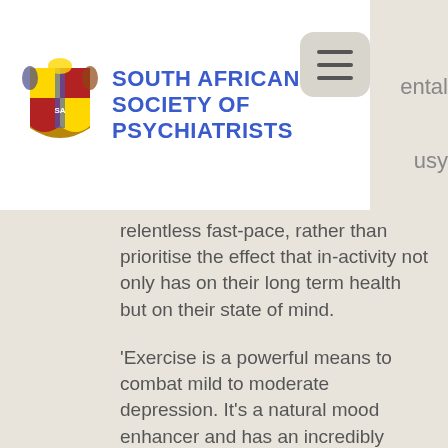SOUTH AFRICAN SOCIETY OF PSYCHIATRISTS
relentless fast-pace, rather than prioritise the effect that in-activity not only has on their long term health but on their state of mind.
'Exercise is a powerful means to combat mild to moderate depression. It's a natural mood enhancer and has an incredibly positive impact on emotions.'
'It releases endorphins that keep you energised, tires you physically for a